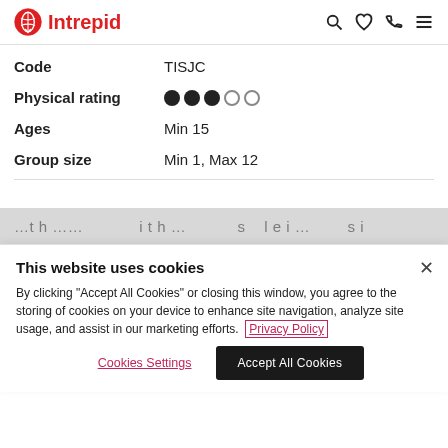Intrepid
| Field | Value |
| --- | --- |
| Code | TISJC |
| Physical rating | ●●●○○ |
| Ages | Min 15 |
| Group size | Min 1, Max 12 |
This website uses cookies
By clicking "Accept All Cookies" or closing this window, you agree to the storing of cookies on your device to enhance site navigation, analyze site usage, and assist in our marketing efforts. Privacy Policy
Cookies Settings | Accept All Cookies